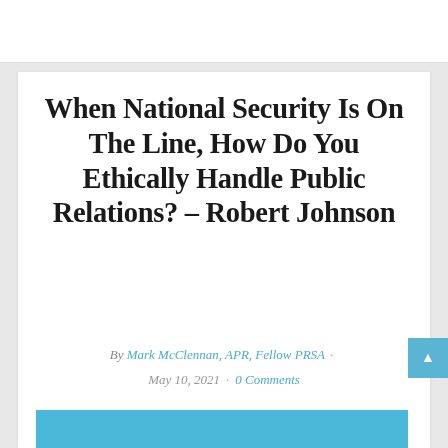When National Security Is On The Line, How Do You Ethically Handle Public Relations? – Robert Johnson
By Mark McClennan, APR, Fellow PRSA · May 10, 2021 · 0 Comments
[Figure (photo): Blue image banner at the bottom of the article card]